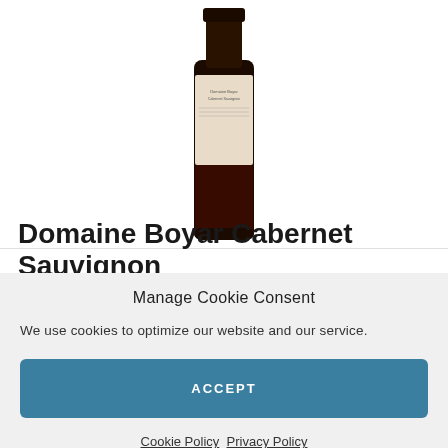[Figure (photo): A dark wine bottle (Domaine Boyar Cabernet Sauvignon) shown from the top down, with a white label visible, set against a white background.]
Domaine Boyar Cabernet Sauvignon
Manage Cookie Consent
We use cookies to optimize our website and our service.
ACCEPT
Cookie Policy  Privacy Policy